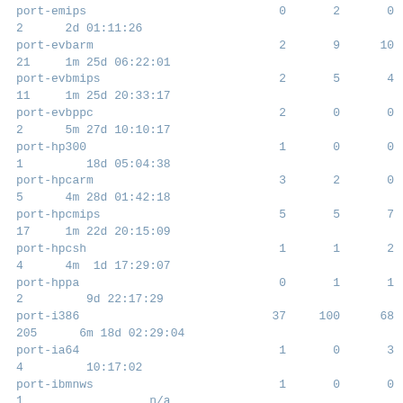| name | col1 | col2 | col3 |
| --- | --- | --- | --- |
| port-emips | 0 | 2 | 0 |
| 2      2d 01:11:26 |  |  |  |
| port-evbarm | 2 | 9 | 10 |
| 21     1m 25d 06:22:01 |  |  |  |
| port-evbmips | 2 | 5 | 4 |
| 11     1m 25d 20:33:17 |  |  |  |
| port-evbppc | 2 | 0 | 0 |
| 2      5m 27d 10:10:17 |  |  |  |
| port-hp300 | 1 | 0 | 0 |
| 1         18d 05:04:38 |  |  |  |
| port-hpcarm | 3 | 2 | 0 |
| 5      4m 28d 01:42:18 |  |  |  |
| port-hpcmips | 5 | 5 | 7 |
| 17     1m 22d 20:15:09 |  |  |  |
| port-hpcsh | 1 | 1 | 2 |
| 4      4m  1d 17:29:07 |  |  |  |
| port-hppa | 0 | 1 | 1 |
| 2         9d 22:17:29 |  |  |  |
| port-i386 | 37 | 100 | 68 |
| 205      6m 18d 02:29:04 |  |  |  |
| port-ia64 | 1 | 0 | 3 |
| 4         10:17:02 |  |  |  |
| port-ibmnws | 1 | 0 | 0 |
| 1                  n/a |  |  |  |
| port-iyonix | 2 | 0 | 0 |
| 2                  n/a |  |  |  |
| port-m68k | 2 | 1 | 0 |
| 3      2m  7d 22:28:16 |  |  |  |
| port-mac68k | 8 | 16 | 5 |
| 29       22d 04:10:23 |  |  |  |